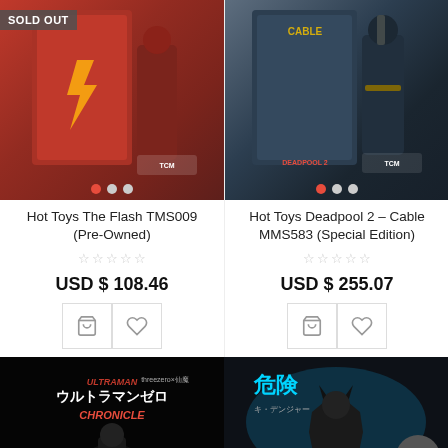[Figure (photo): Hot Toys The Flash TMS009 action figure product image with red box packaging. 'SOLD OUT' badge in top left corner. Carousel dots visible at bottom.]
Hot Toys The Flash TMS009 (Pre-Owned)
USD $ 108.46
[Figure (photo): Hot Toys Deadpool 2 Cable MMS583 Special Edition action figure product image with dark box packaging. Carousel dots visible at bottom.]
Hot Toys Deadpool 2 – Cable MMS583 (Special Edition)
USD $ 255.07
[Figure (photo): Ultraman Zero Chronicle figure product image with dark background and Japanese text.]
[Figure (photo): Batman figure product image with dark blue/teal background and Japanese hazard text (危険).]